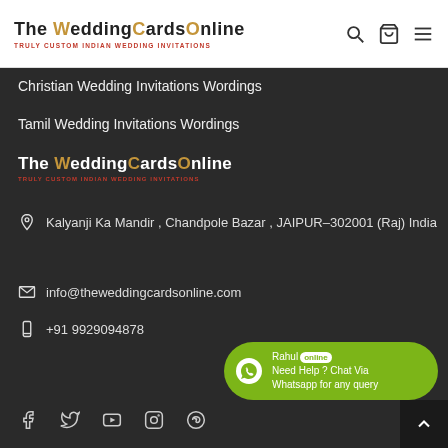The WeddingCardsOnline — TRULY CUSTOM INDIAN WEDDING INVITATIONS
Christian Wedding Invitations Wordings
Tamil Wedding Invitations Wordings
[Figure (logo): The WeddingCardsOnline logo with tagline TRULY CUSTOM INDIAN WEDDING INVITATIONS on dark background]
Kalyanji Ka Mandir , Chandpole Bazar , JAIPUR-302001 (Raj) India
info@theweddingcardsonline.com
+91 9929094878
[Figure (infographic): WhatsApp chat bubble: Rahul online — Need Help ? Chat Via Whatsapp for any query]
[Figure (infographic): Social media icons: Facebook, Twitter, YouTube, Instagram, Pinterest]